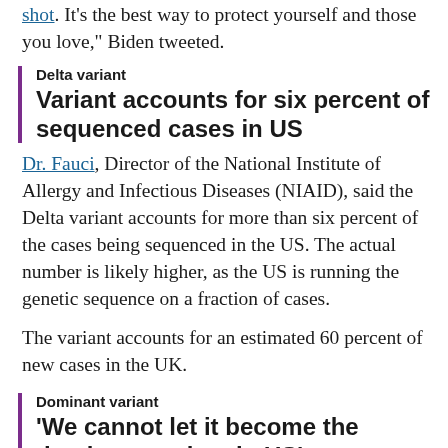shot. It's the best way to protect yourself and those you love," Biden tweeted.
Delta variant
Variant accounts for six percent of sequenced cases in US
Dr. Fauci, Director of the National Institute of Allergy and Infectious Diseases (NIAID), said the Delta variant accounts for more than six percent of the cases being sequenced in the US. The actual number is likely higher, as the US is running the genetic sequence on a fraction of cases.
The variant accounts for an estimated 60 percent of new cases in the UK.
Dominant variant
'We cannot let it become the dominant variant in US'
The Delta variant is now more prevalent than the Alpha